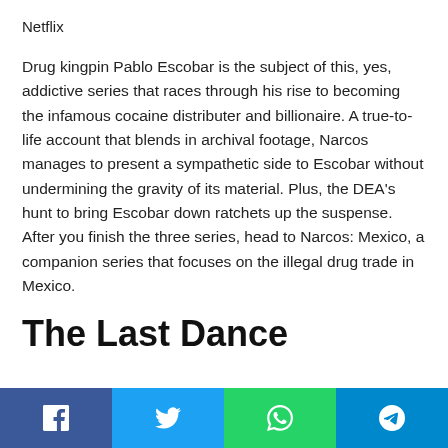Netflix
Drug kingpin Pablo Escobar is the subject of this, yes, addictive series that races through his rise to becoming the infamous cocaine distributer and billionaire. A true-to-life account that blends in archival footage, Narcos manages to present a sympathetic side to Escobar without undermining the gravity of its material. Plus, the DEA’s hunt to bring Escobar down ratchets up the suspense. After you finish the three series, head to Narcos: Mexico, a companion series that focuses on the illegal drug trade in Mexico.
The Last Dance
[Figure (infographic): Social sharing bar with four buttons: Facebook (blue), Twitter (light blue), WhatsApp (green), Telegram (teal)]